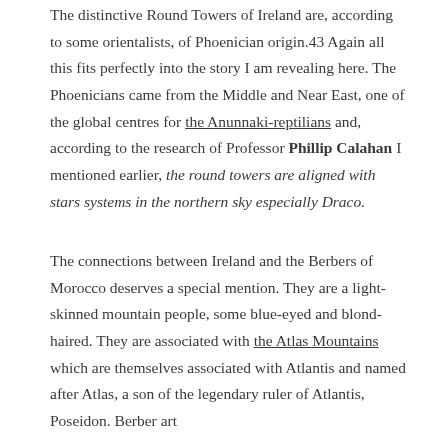The distinctive Round Towers of Ireland are, according to some orientalists, of Phoenician origin.43 Again all this fits perfectly into the story I am revealing here. The Phoenicians came from the Middle and Near East, one of the global centres for the Anunnaki-reptilians and, according to the research of Professor Phillip Calahan I mentioned earlier, the round towers are aligned with stars systems in the northern sky especially Draco.
The connections between Ireland and the Berbers of Morocco deserves a special mention. They are a light-skinned mountain people, some blue-eyed and blond-haired. They are associated with the Atlas Mountains which are themselves associated with Atlantis and named after Atlas, a son of the legendary ruler of Atlantis, Poseidon. Berber art